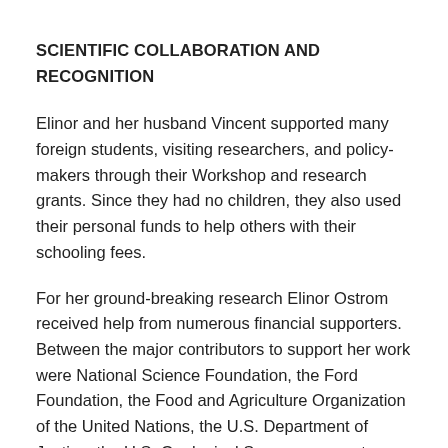SCIENTIFIC COLLABORATION AND RECOGNITION
Elinor and her husband Vincent supported many foreign students, visiting researchers, and policy-makers through their Workshop and research grants. Since they had no children, they also used their personal funds to help others with their schooling fees.
For her ground-breaking research Elinor Ostrom received help from numerous financial supporters. Between the major contributors to support her work were National Science Foundation, the Ford Foundation, the Food and Agriculture Organization of the United Nations, the U.S. Department of Justice, the U.S. Geological Survey, amongst various others.
Ostrom was also an active member of different professional associations, such as the American Political Science